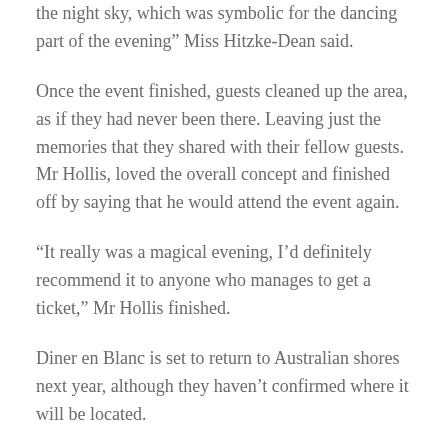the night sky, which was symbolic for the dancing part of the evening” Miss Hitzke-Dean said.
Once the event finished, guests cleaned up the area, as if they had never been there. Leaving just the memories that they shared with their fellow guests. Mr Hollis, loved the overall concept and finished off by saying that he would attend the event again.
“It really was a magical evening, I’d definitely recommend it to anyone who manages to get a ticket,” Mr Hollis finished.
Diner en Blanc is set to return to Australian shores next year, although they haven’t confirmed where it will be located.
Share: